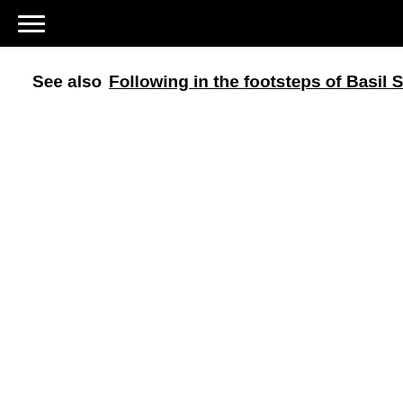See also  Following in the footsteps of Basil Saharoff